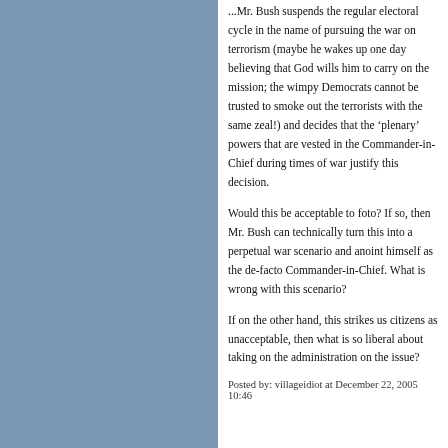...Mr. Bush suspends the regular electoral cycle in the name of pursuing the war on terrorism (maybe he wakes up one day believing that God wills him to carry on the mission; the wimpy Democrats cannot be trusted to smoke out the terrorists with the same zeal!) and decides that the 'plenary' powers that are vested in the Commander-in-Chief during times of war justify this decision.
Would this be acceptable to foto? If so, then Mr. Bush can technically turn this into a perpetual war scenario and anoint himself as the de-facto Commander-in-Chief. What is wrong with this scenario?
If on the other hand, this strikes us citizens as unacceptable, then what is so liberal about taking on the administration on the issue?
Posted by: villageidiot at December 22, 2005 10:46